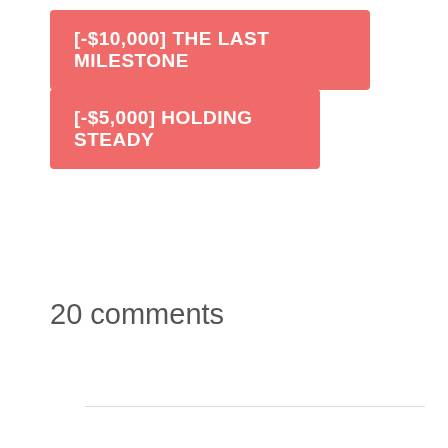[-$10,000] THE LAST MILESTONE
[-$5,000] HOLDING STEADY
20 comments